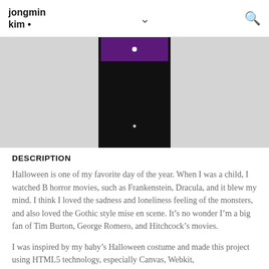jongmin kim • ∨ 🔍
[Figure (photo): A Halloween costume figure against a light gray background. The figure wears a purple top/collar and dark black body, centered in the image.]
DESCRIPTION
Halloween is one of my favorite day of the year. When I was a child, I watched B horror movies, such as Frankenstein, Dracula, and it blew my mind. I think I loved the sadness and loneliness feeling of the monsters, and also loved the Gothic style mise en scene. It's no wonder I'm a big fan of Tim Burton, George Romero, and Hitchcock's movies.
I was inspired by my baby's Halloween costume and made this project using HTML5 technology, especially Canvas, Webkit,